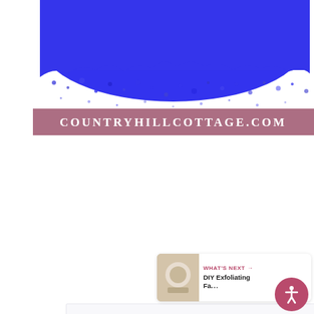[Figure (photo): Blue powder/pigment scattered against a white background with a pink/mauve banner overlay reading COUNTRYHILLCOTTAGE.COM]
[Figure (screenshot): White content card area below the photo with UI buttons: a heart/favorite button (pink circle), a share button (white circle with share icon), a 'WHAT'S NEXT' bar with thumbnail and text 'DIY Exfoliating Fa....' and an accessibility button at bottom right]